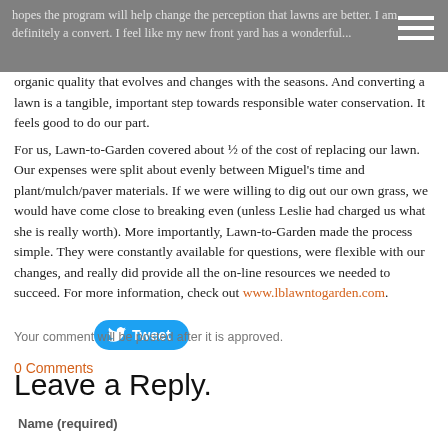hopes the program will help change the perception that lawns are better. I am definitely a convert. I feel like my new front yard has a wonderful...
organic quality that evolves and changes with the seasons.  And converting a lawn is a tangible, important step towards responsible water conservation.  It feels good to do our part.
For us, Lawn-to-Garden covered about ½ of the cost of replacing our lawn.  Our expenses were split about evenly between Miguel's time and plant/mulch/paver materials.  If we were willing to dig out our own grass, we would have come close to breaking even (unless Leslie had charged us what she is really worth).  More importantly, Lawn-to-Garden made the process simple.  They were constantly available for questions, were flexible with our changes, and really did provide all the on-line resources we needed to succeed.  For more information, check out www.lblawntogarden.com.
Tweet
0 Comments
Your comment will be posted after it is approved.
Leave a Reply.
Name (required)